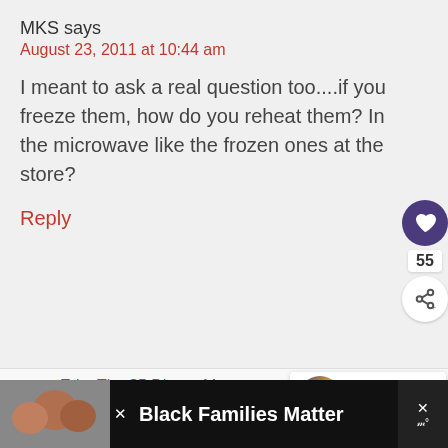MKS says
August 23, 2011 at 10:44 am
I meant to ask a real question too....if you freeze them, how do you reheat them? In the microwave like the frozen ones at the store?
Reply
Erin, The $5 Dinner Mom says
August 25, 2011 at 8:31 pm
WHAT'S NEXT → 22 Budget Friendly,...
Black Families Matter